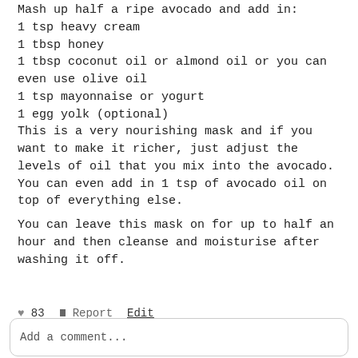Mash up half a ripe avocado and add in:
1 tsp heavy cream
1 tbsp honey
1 tbsp coconut oil or almond oil or you can even use olive oil
1 tsp mayonnaise or yogurt
1 egg yolk (optional)
This is a very nourishing mask and if you want to make it richer, just adjust the levels of oil that you mix into the avocado. You can even add in 1 tsp of avocado oil on top of everything else.
You can leave this mask on for up to half an hour and then cleanse and moisturise after washing it off.
♥ 83  ⚑ Report  Edit
Add a comment...